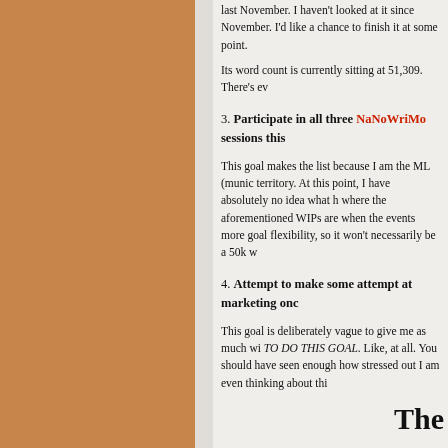last November. I haven't looked at it since November. I'd like a chance to finish it at some point.
Its word count is currently sitting at 51,309. There's ev…
3. Participate in all three NaNoWriMo sessions this…
This goal makes the list because I am the ML (muni… territory. At this point, I have absolutely no idea what h… where the aforementioned WIPs are when the events… more goal flexibility, so it won't necessarily be a 50k w…
4. Attempt to make some attempt at marketing onc…
This goal is deliberately vague to give me as much wi… TO DO THIS GOAL. Like, at all. You should have seen… enough how stressed out I am even thinking about thi…
The…
1. Read 52 books
Haven't managed this one the last few years, but may…